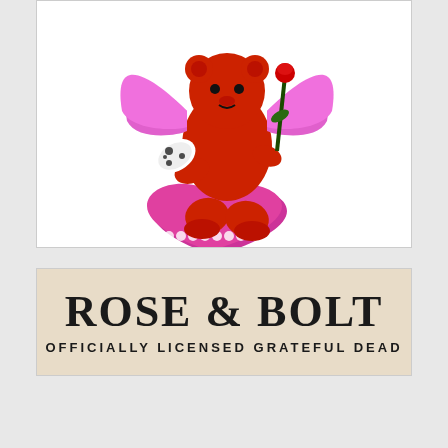[Figure (photo): A red cartoon bear figurine with pink feathered wings, holding a black rose, standing on a pink heart-shaped base. The figurine has spotted shoes/feet.]
[Figure (logo): Rose & Bolt logo banner on a beige/tan background. Large decorative text reads 'ROSE & BOLT' with subtitle 'OFFICIALLY LICENSED GRATEFUL DEAD']